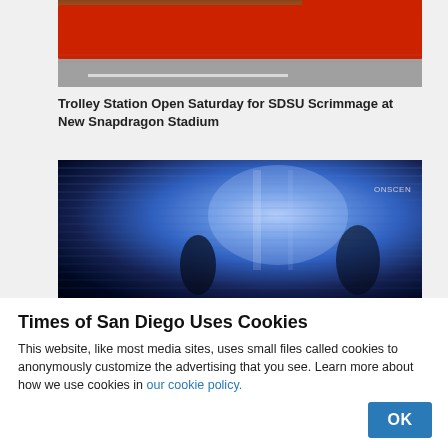[Figure (photo): Photo of a red trolley/train at a station with a road and platform visible]
Trolley Station Open Saturday for SDSU Scrimmage at New Snapdragon Stadium
[Figure (photo): Dark blue-tinted security camera or surveillance footage showing a room with horizontal scan lines and silhouettes, with 'ONSCEN' watermark in top right]
Times of San Diego Uses Cookies
This website, like most media sites, uses small files called cookies to anonymously customize the advertising that you see. Learn more about how we use cookies in our cookie policy.